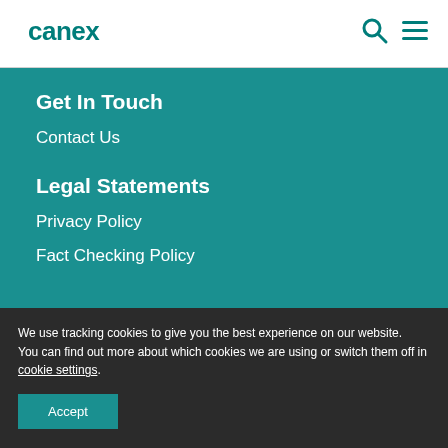canex
Get In Touch
Contact Us
Legal Statements
Privacy Policy
Fact Checking Policy
We use tracking cookies to give you the best experience on our website.
You can find out more about which cookies we are using or switch them off in cookie settings.
Accept